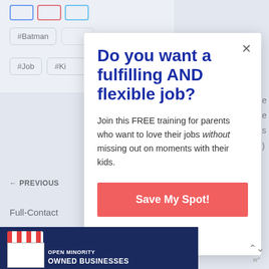#Batman  #Job  #Kid
← PREVIOUS
Full-Contact
Do you want a fulfilling AND flexible job?
Join this FREE training for parents who want to love their jobs without missing out on moments with their kids.
Save My Spot!
[Figure (illustration): Minority owned businesses banner with store illustration]
OWNED BUSINESSES